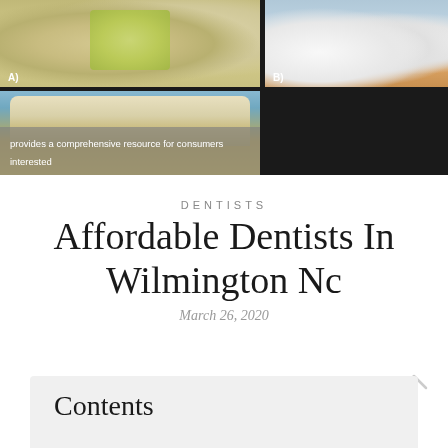[Figure (photo): Two dental photos at top: (A) tooth with yellow-green dental device/mold, (B) teeth with blue dental tool/brush. Bottom left photo showing multiple teeth from front view with small white clips/brackets. Caption overlay reads 'provides a comprehensive resource for consumers interested']
DENTISTS
Affordable Dentists In Wilmington Nc
March 26, 2020
Contents